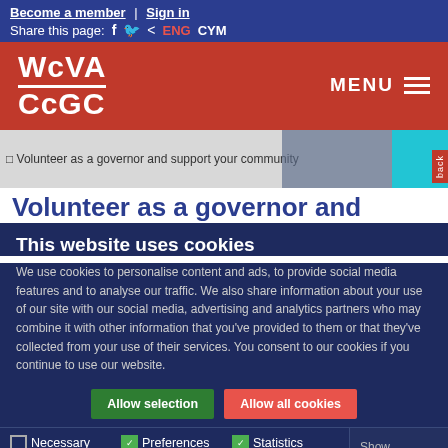Become a member | Sign in
Share this page: f 🐦 < ENG CYM
[Figure (logo): WcVA CcGC logo in white text on red background with MENU button]
[Figure (screenshot): Hero image: Volunteer as a governor and support your community]
Volunteer as a governor and
This website uses cookies
We use cookies to personalise content and ads, to provide social media features and to analyse our traffic. We also share information about your use of our site with our social media, advertising and analytics partners who may combine it with other information that you've provided to them or that they've collected from your use of their services. You consent to our cookies if you continue to use our website.
Allow selection | Allow all cookies
Necessary  Preferences  Statistics  Marketing  Show details